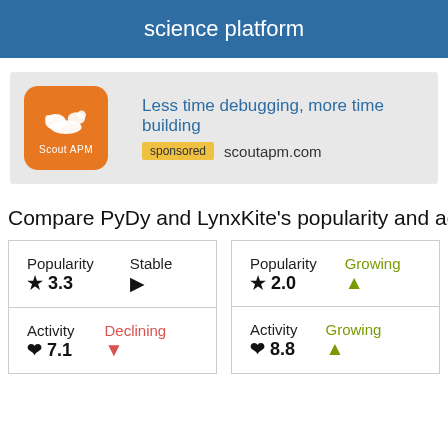science platform
[Figure (logo): Scout APM orange logo with dog icon]
Less time debugging, more time building
sponsored   scoutapm.com
Compare PyDy and LynxKite's popularity and activity
| Popularity | Stable | Popularity | Growing |
| --- | --- | --- | --- |
| ★ 3.3 | ▶ | ★ 2.0 | ▲ |
| Activity Declining | ▼ | Activity Growing | ▲ |
| ♥ 7.1 |  | ♥ 8.8 |  |